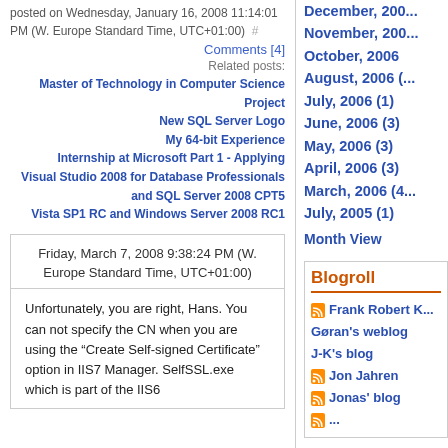posted on Wednesday, January 16, 2008 11:14:01 PM (W. Europe Standard Time, UTC+01:00) #
Comments [4]
Related posts:
Master of Technology in Computer Science Project
New SQL Server Logo
My 64-bit Experience
Internship at Microsoft Part 1 - Applying
Visual Studio 2008 for Database Professionals and SQL Server 2008 CPT5
Vista SP1 RC and Windows Server 2008 RC1
Friday, March 7, 2008 9:38:24 PM (W. Europe Standard Time, UTC+01:00)
Unfortunately, you are right, Hans. You can not specify the CN when you are using the “Create Self-signed Certificate” option in IIS7 Manager. SelfSSL.exe which is part of the IIS6
December, 200...
November, 200...
October, 2006
August, 2006 (...
July, 2006 (1)
June, 2006 (3)
May, 2006 (3)
April, 2006 (3)
March, 2006 (4...
July, 2005 (1)
Month View
Blogroll
Frank Robert K...
Gøran's weblog
J-K's blog
Jon Jahren
Jonas' blog
...